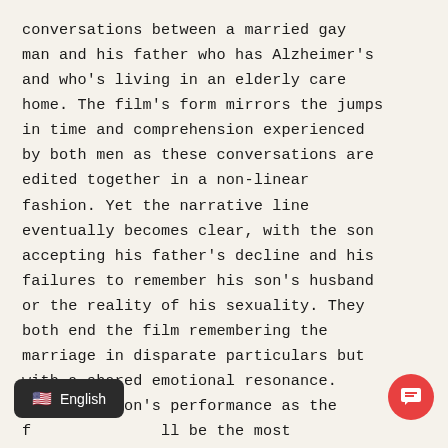conversations between a married gay man and his father who has Alzheimer's and who's living in an elderly care home. The film's form mirrors the jumps in time and comprehension experienced by both men as these conversations are edited together in a non-linear fashion. Yet the narrative line eventually becomes clear, with the son accepting his father's decline and his failures to remember his son's husband or the reality of his sexuality. They both end the film remembering the marriage in disparate particulars but with a shared emotional resonance. Eric Peterson's performance as the f[...] ll be the most d[...] on this list.